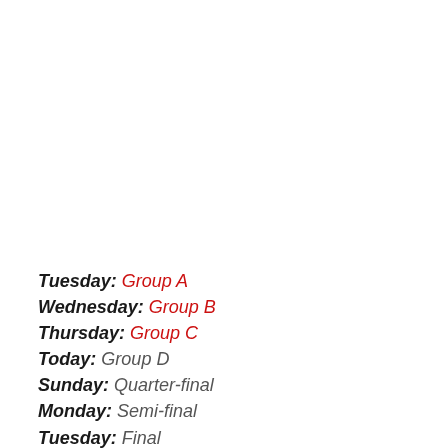Tuesday: Group A
Wednesday: Group B
Thursday: Group C
Today: Group D
Sunday: Quarter-final
Monday: Semi-final
Tuesday: Final